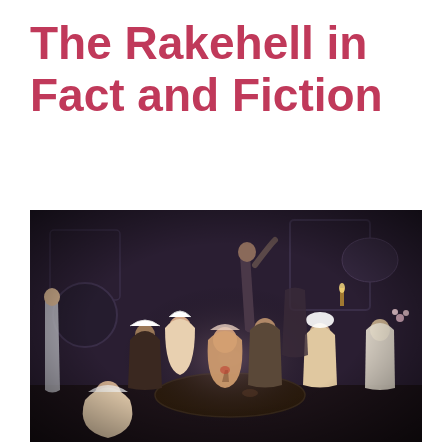The Rakehell in Fact and Fiction
[Figure (photo): A dark interior scene painting showing a group of people — men and women in 18th century dress — gathered around a table in a tavern or brothel setting. The figures are dressed in period costume with bonnets and ruffled clothing. A man stands at the back near a fireplace. The scene is lively and chaotic, resembling William Hogarth's 'A Rake's Progress' series.]